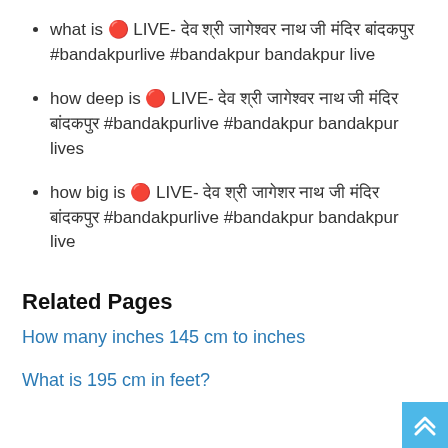what is 🔴 LIVE- देव श्री जागेश्वर नाथ जी मंदिर बांदकपुर #bandakpurlive #bandakpur bandakpur live
how deep is 🔴 LIVE- देव श्री जागेश्वर नाथ जी मंदिर बांदकपुर #bandakpurlive #bandakpur bandakpur lives
how big is 🔴 LIVE- देव श्री जागेशर नाथ जी मंदिर बांदकपुर #bandakpurlive #bandakpur bandakpur live
Related Pages
How many inches 145 cm to inches
What is 195 cm in feet?